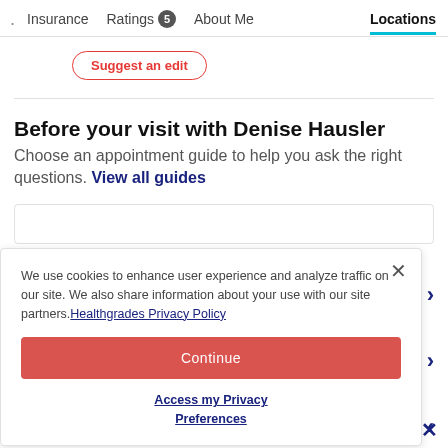· Insurance  Ratings 5  About Me  Locations
Suggest an edit
Before your visit with Denise Hausler
Choose an appointment guide to help you ask the right questions. View all guides
We use cookies to enhance user experience and analyze traffic on our site. We also share information about your use with our site partners. Healthgrades Privacy Policy
Continue
Access my Privacy Preferences